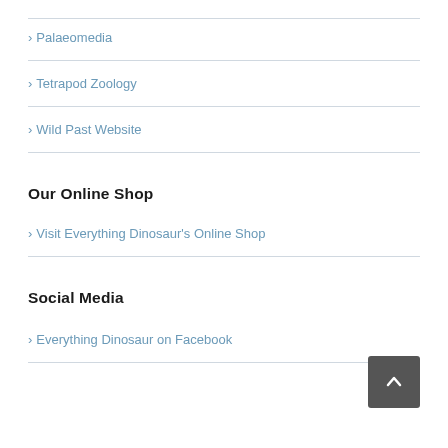Palaeomedia
Tetrapod Zoology
Wild Past Website
Our Online Shop
Visit Everything Dinosaur's Online Shop
Social Media
Everything Dinosaur on Facebook